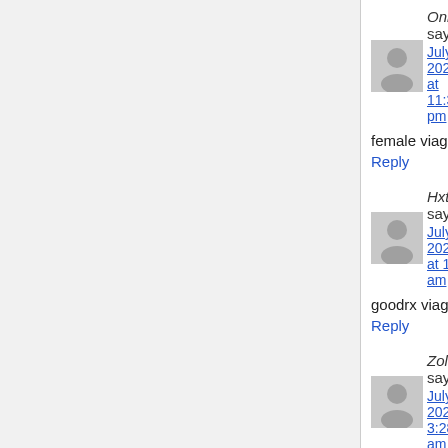OnrTS says: July 2, 2021 at 11:34 pm
female viagra over the counter viagra pa...
Reply
HxtOK says: July 3, 2021 at 1:32 am
goodrx viagra liquid viagra woman viagra...
Reply
ZolWW says: July 3, 2021 at 3:28 am
sildenafil pfizer 100 mg viagra effet seco...
Reply
PcaWA says: July 3, 2021 at 11:04 am
alternative to viagra sildenafil cost where...